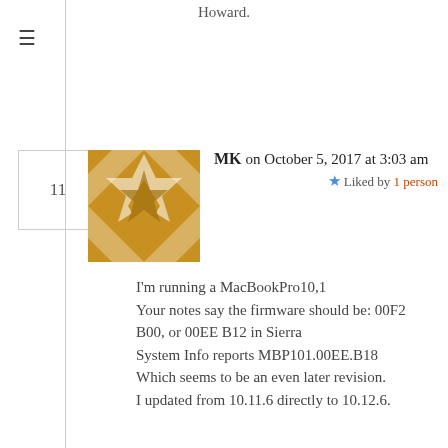Howard.
≡
11
[Figure (illustration): Abstract geometric avatar with gold/brown pattern on white background.]
MK on October 5, 2017 at 3:03 am
★ Liked by 1 person
I'm running a MacBookPro10,1
Your notes say the firmware should be: 00F2 B00, or 00EE B12 in Sierra
System Info reports MBP101.00EE.B18
Which seems to be an even later revision.
I updated from 10.11.6 directly to 10.12.6.